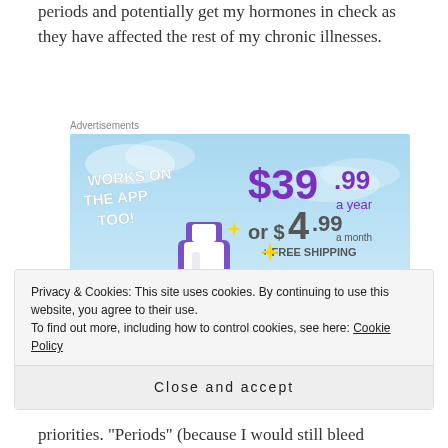periods and potentially get my hormones in check as they have affected the rest of my chronic illnesses.
[Figure (screenshot): Tumblr Ad-Free advertisement banner showing '$39.99 a year or $4.99 a month + FREE SHIPPING' with Tumblr logo and 'WORKS ON THE APP TOO!' text on a blue sky background]
Privacy & Cookies: This site uses cookies. By continuing to use this website, you agree to their use.
To find out more, including how to control cookies, see here: Cookie Policy
Close and accept
priorities. “Periods” (because I would still bleed